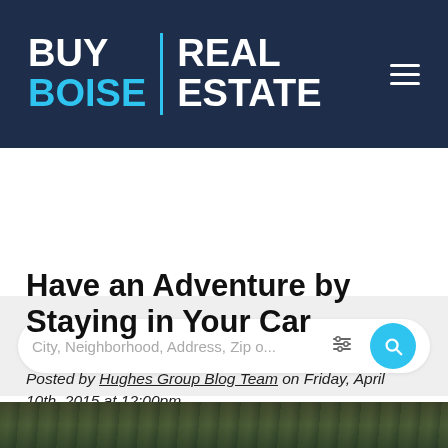BUY BOISE | REAL ESTATE
[Figure (screenshot): Search bar with placeholder text 'City, Neighborhood, Address, Zip o...' with a filter icon and a cyan search button]
Have an Adventure by Staying in Your Car
Posted by Hughes Group Blog Team on Friday, April 10th, 2015 at 12:00pm.
[Figure (photo): Partial view of an outdoor/nature photo at the bottom of the page]